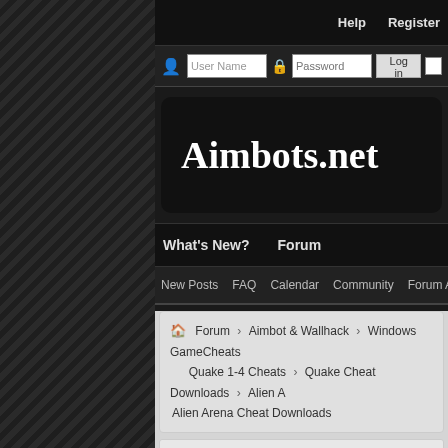Help   Register
User Name  Password  Log in
Aimbots.net
What's New?   Forum
New Posts  FAQ  Calendar  Community  Forum Actions  Quick Links
Forum > Aimbot & Wallhack > Windows GameCheats > Quake 1-4 Cheats > Quake Cheat Downloads > Alien Arena Cheat Downloads
If this is your first visit, be sure to check out the FAQ by clicking the link above. You may have to register before you can post: click the register link above to proceed. To start viewing messages, select the forum that you want to visit from the selection below.
Announcement: Introduce Yourself
King-OrgY (Admin)